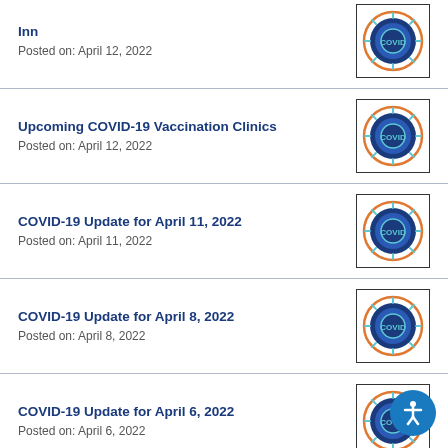Inn
Posted on: April 12, 2022
Upcoming COVID-19 Vaccination Clinics
Posted on: April 12, 2022
COVID-19 Update for April 11, 2022
Posted on: April 11, 2022
COVID-19 Update for April 8, 2022
Posted on: April 8, 2022
COVID-19 Update for April 6, 2022
Posted on: April 6, 2022
COVID-19 Update for April 4, 2022
Posted on: April 4, 2022